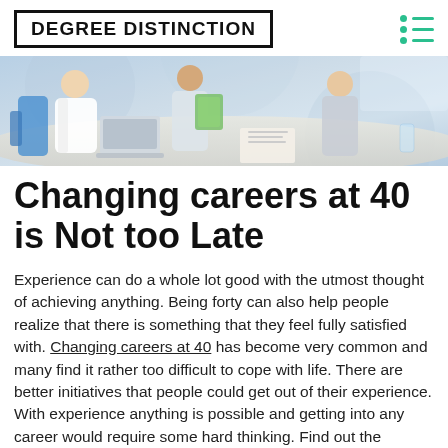DEGREE DISTINCTION
[Figure (photo): Office meeting scene with people sitting around a table with laptops and documents, collaborative professional setting]
Changing careers at 40 is Not too Late
Experience can do a whole lot good with the utmost thought of achieving anything. Being forty can also help people realize that there is something that they feel fully satisfied with. Changing careers at 40 has become very common and many find it rather too difficult to cope with life. There are better initiatives that people could get out of their experience. With experience anything is possible and getting into any career would require some hard thinking. Find out the numerous reasons as to why a sudden change in career is needed. This would help